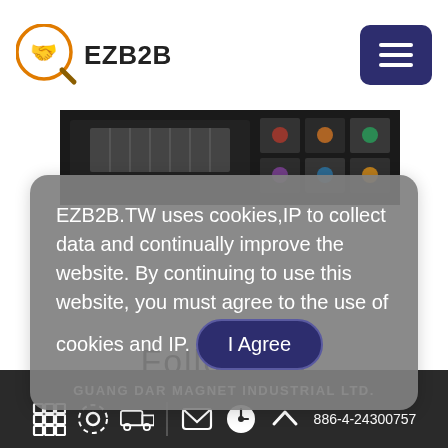[Figure (logo): EZB2B logo with handshake icon in orange circle and magnifying glass, text EZB2B]
[Figure (photo): Product image strip showing industrial magnets on dark background]
EZB2B.TW uses cookies,IP to collect data and continually improve the website. By continuing to use this website, you must agree to the use of cookies and IP.  I Agree
Follow Us
GUANG DAR MAGNET INDUSTRIAL LTD.  886-4-24300757